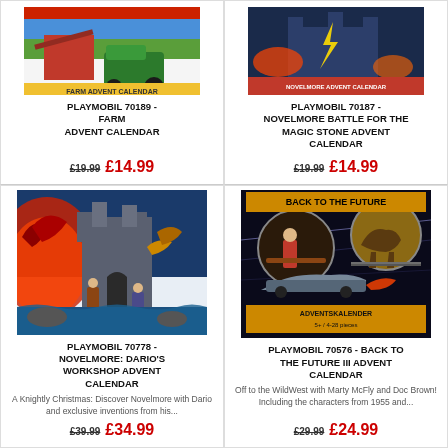[Figure (photo): Playmobil 70189 Farm Advent Calendar box image, partially cropped at top]
PLAYMOBIL 70189 - FARM ADVENT CALENDAR
£19.99 £14.99
[Figure (photo): Playmobil 70187 Novelmore Battle for the Magic Stone Advent Calendar box image, partially cropped at top]
PLAYMOBIL 70187 - NOVELMORE BATTLE FOR THE MAGIC STONE ADVENT CALENDAR
£19.99 £14.99
[Figure (photo): Playmobil 70778 Novelmore Dario's Workshop Advent Calendar box showing fantasy castle battle scene]
PLAYMOBIL 70778 - NOVELMORE: DARIO'S WORKSHOP ADVENT CALENDAR
A Knightly Christmas: Discover Novelmore with Dario and exclusive inventions from his...
£39.99 £34.99
[Figure (photo): Playmobil 70576 Back to the Future III Advent Calendar box with Western scene]
PLAYMOBIL 70576 - BACK TO THE FUTURE III ADVENT CALENDAR
Off to the WildWest with Marty McFly and Doc Brown! Including the characters from 1955 and...
£29.99 £24.99